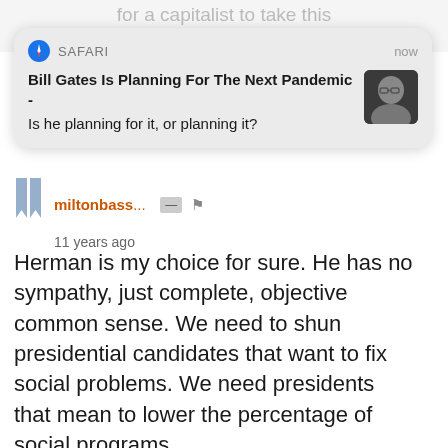for a capitalist to take this
[Figure (screenshot): Safari browser notification card showing headline 'Bill Gates Is Planning For The Next Pandemic -' with subtext 'Is he planning for it, or planning it?' and a thumbnail photo of Bill Gates. Header shows Safari icon, 'SAFARI' label, and 'now' timestamp.]
miltonbass... 11 years ago
Herman is my choice for sure. He has no sympathy, just complete, objective common sense. We need to shun presidential candidates that want to fix social problems. We need presidents that mean to lower the percentage of social programs.